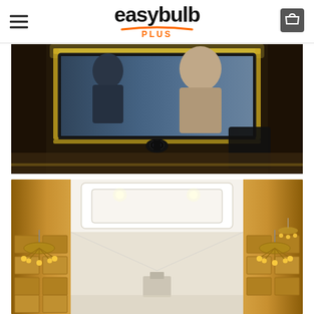easybulb PLUS — navigation header with hamburger menu and cart icon
[Figure (photo): Dark room with a flatscreen TV mounted on wall, glowing with warm LED backlighting in yellow/amber tones, a camera device below the screen]
[Figure (photo): Elegant hotel lobby interior with ornate gold chandeliers, recessed ceiling lighting, decorative wall panels in warm amber and cream tones]